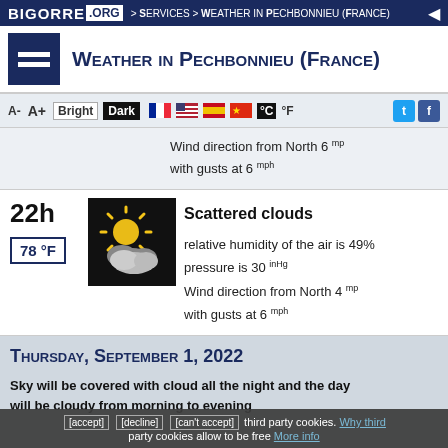BIGORRE .ORG > Services > Weather in Pechbonnieu (France)
Weather in Pechbonnieu (France)
A- A+ Bright Dark °C °F
Wind direction from North 6 mph with gusts at 6 mph
22h
78 °F
[Figure (illustration): Weather icon showing sun partially behind clouds on black background (scattered clouds)]
Scattered clouds
relative humidity of the air is 49%
pressure is 30 inHg
Wind direction from North 4 mph with gusts at 6 mph
Thursday, September 1, 2022
Sky will be covered with cloud all the night and the day will be cloudy from morning to evening
[accept] [decline] [can't accept] third party cookies. Why third party cookies allow to be free More info